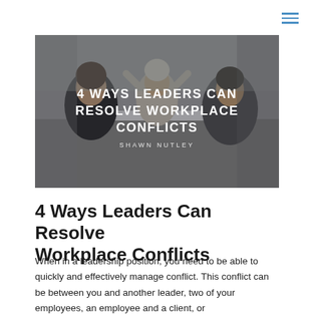[Figure (photo): A workplace meeting scene with several people around a white table, overlaid with bold white text reading '4 WAYS LEADERS CAN RESOLVE WORKPLACE CONFLICTS' and 'SHAWN NUTLEY' below it. The image has a slightly dark, desaturated tone.]
4 Ways Leaders Can Resolve Workplace Conflicts
When in a leadership position, you need to be able to quickly and effectively manage conflict. This conflict can be between you and another leader, two of your employees, an employee and a client, or